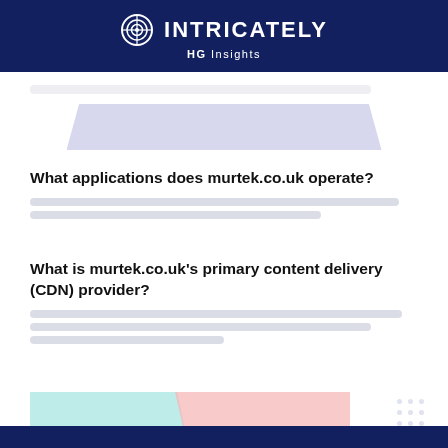INTRICATELY HG Insights
[Figure (other): Blurred decorative purple trapezoid shape above first question]
What applications does murtek.co.uk operate?
[blurred answer text — redacted content]
What is murtek.co.uk's primary content delivery (CDN) provider?
[blurred answer text — redacted content]
[Figure (other): Teal and pink trapezoid shapes at bottom of page, with dot pattern]